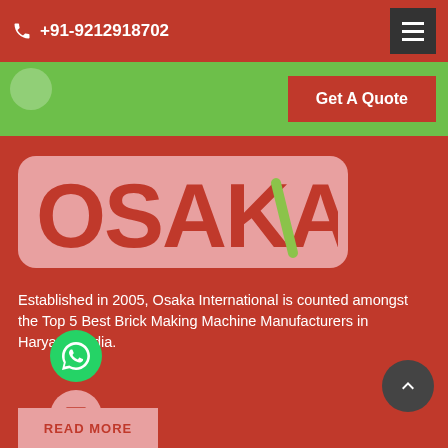+91-9212918702
[Figure (logo): OSAKA logo in red bold letters on a pink/light-red rounded rectangle background with a green diagonal accent on the letter A]
Established in 2005, Osaka International is counted amongst the Top 5 Best Brick Making Machine Manufacturers in Haryana, India.
READ MORE